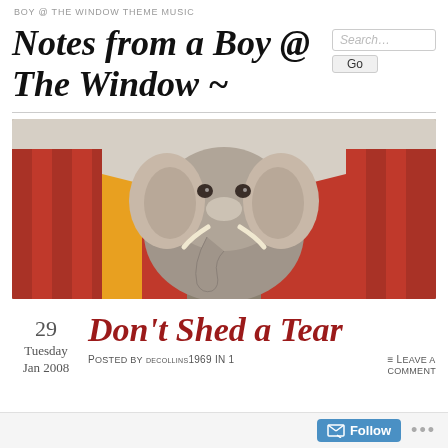BOY @ THE WINDOW THEME MUSIC
Notes from a Boy @ The Window ~
[Figure (photo): An elephant walking down a school hallway lined with red lockers on both sides, viewed from a front-facing perspective.]
29 Tuesday Jan 2008
Don't Shed a Tear
Posted by decollins1969 in 1
= Leave a comment